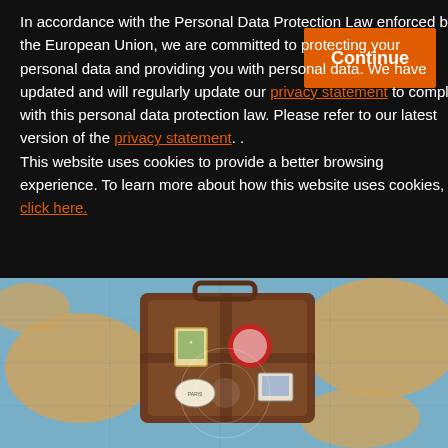In accordance with the Personal Data Protection Law enforced by the European Union, we are committed to protecting your personal data and providing you with personal data. We have updated and will regularly update our privacy statement to comply with this personal data protection law. Please refer to our latest version of the privacy statement. .
This website uses cookies to provide a better browsing experience. To learn more about how this website uses cookies, click here.
[Figure (photo): A vintage brown suitcase with travel stickers placed on top of a world map, showing the North Atlantic Ocean region]